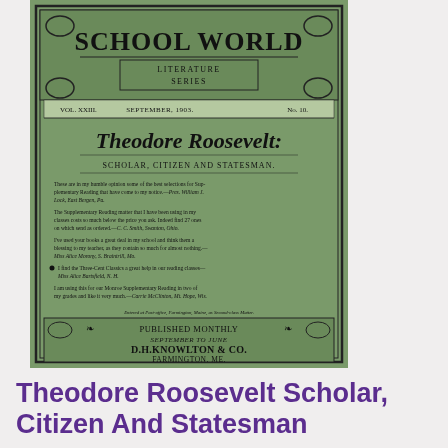[Figure (illustration): Front cover of School World Literature Series magazine, September 1903, Vol. XXIII No. 10, featuring 'Theodore Roosevelt: Scholar, Citizen and Statesman', published monthly September to June by D.H. Knowlton & Co., Farmington, ME. Green decorative cover with ornate border and testimonial text.]
Theodore Roosevelt Scholar, Citizen And Statesman
Farmington Maine: D. H. Knowlton & Co., 1903. First Edition. Wraps